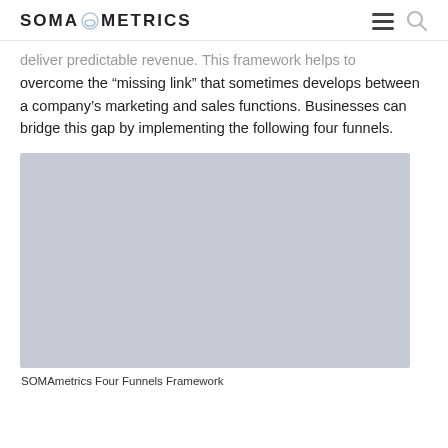SOMA METRICS
deliver predictable revenue. This framework helps to overcome the “missing link” that sometimes develops between a company’s marketing and sales functions. Businesses can bridge this gap by implementing the following four funnels.
[Figure (illustration): Gray placeholder rectangle representing the SOMAmetrics Four Funnels Framework diagram]
SOMAmetrics Four Funnels Framework